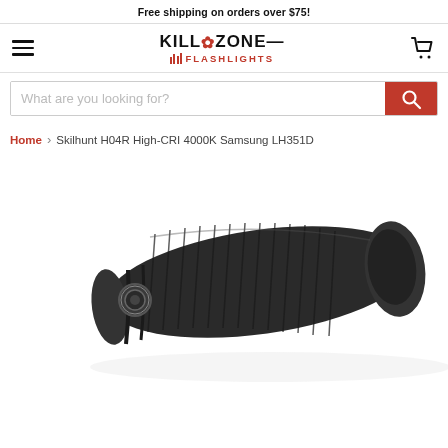Free shipping on orders over $75!
[Figure (logo): Killzone Flashlights logo with skull icon in red and black, text KILLZONE with skull emblem and FLASHLIGHTS in red below]
What are you looking for?
Home > Skilhunt H04R High-CRI 4000K Samsung LH351D
[Figure (photo): Close-up photo of a black tactical flashlight (Skilhunt H04R) showing textured grip, side button, and body on white background]